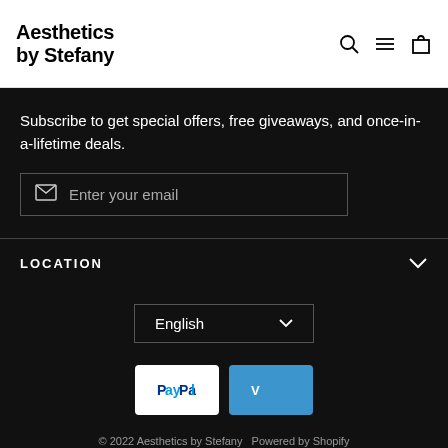Aesthetics by Stefany
Subscribe to get special offers, free giveaways, and once-in-a-lifetime deals.
Enter your email
LOCATION
English
[Figure (other): PayPal and Venmo payment icons]
© 2022 Aesthetics by Stefany  Powered by Shopify